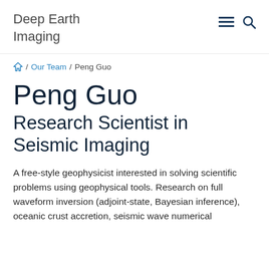Deep Earth Imaging
⌂ / Our Team / Peng Guo
Peng Guo
Research Scientist in Seismic Imaging
A free-style geophysicist interested in solving scientific problems using geophysical tools. Research on full waveform inversion (adjoint-state, Bayesian inference), oceanic crust accretion, seismic wave numerical